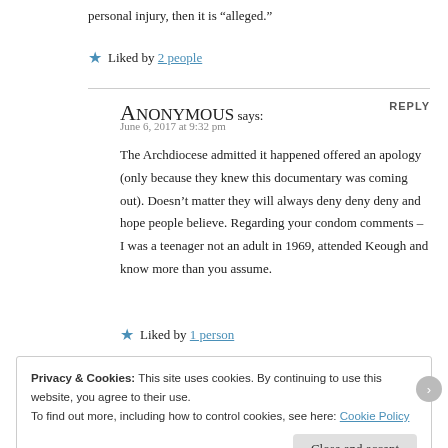personal injury, then it is “alleged.”
Liked by 2 people
ANONYMOUS says:
June 6, 2017 at 9:32 pm
REPLY
The Archdiocese admitted it happened offered an apology (only because they knew this documentary was coming out). Doesn’t matter they will always deny deny deny and hope people believe. Regarding your condom comments – I was a teenager not an adult in 1969, attended Keough and know more than you assume.
Liked by 1 person
Privacy & Cookies: This site uses cookies. By continuing to use this website, you agree to their use.
To find out more, including how to control cookies, see here: Cookie Policy
Close and accept